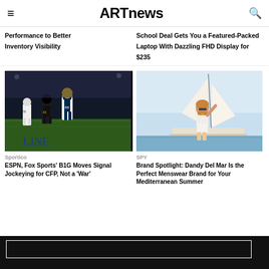ARTnews
Performance to Better Inventory Visibility
School Deal Gets You a Featured-Packed Laptop With Dazzling FHD Display for $235
[Figure (photo): Football players running on field, Michigan Wolverines uniforms, players wearing numbers 78 and 33]
Sportico
ESPN, Fox Sports' B1G Moves Signal Jockeying for CFP, Not a 'War'
[Figure (photo): Man with beard standing on sailboat deck, wearing white shorts and shirt, waving, sunny day on water]
SPY
Brand Spotlight: Dandy Del Mar Is the Perfect Menswear Brand for Your Mediterranean Summer